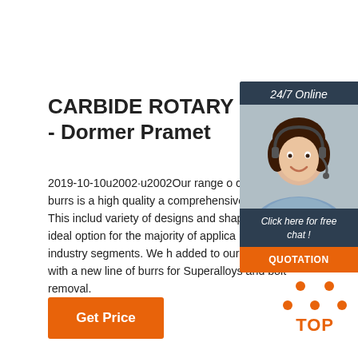CARBIDE ROTARY BUR - Dormer Pramet
2019-10-10u2002·u2002Our range of carbide rotary burrs is a high quality and comprehensive program. This includes a variety of designs and shapes to offer the ideal option for the majority of applications in all major industry segments. We have added to our assortment with a new line of burrs for Superalloys and bolt removal.
[Figure (photo): Customer service agent photo with 24/7 Online label, Click here for free chat text, and QUOTATION button]
[Figure (illustration): Orange TOP icon with upward arrow dots above the text TOP]
Get Price